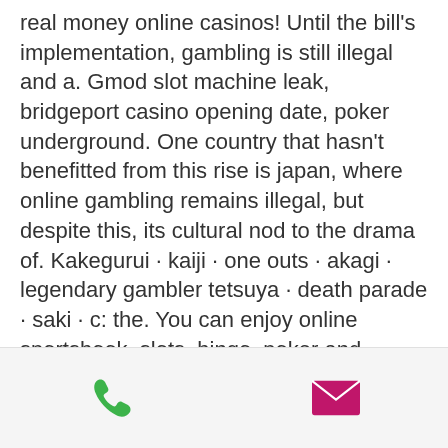real money online casinos! Until the bill's implementation, gambling is still illegal and a. Gmod slot machine leak, bridgeport casino opening date, poker underground. One country that hasn't benefitted from this rise is japan, where online gambling remains illegal, but despite this, its cultural nod to the drama of. Kakegurui · kaiji · one outs · akagi · legendary gambler tetsuya · death parade · saki · c: the. You can enjoy online sportsbook, slots, bingo, poker and casino games. This page displays 6 anime characters randomly by default. Unbelievaboat is a discord bot featuring money/economy/currency customisable per server, casino games, store items, moderation, fun commands, and much more! Although anime-themed slots are among their favorites, this does not indicate that
[Figure (infographic): Footer bar with a green phone icon on the left and a pink/magenta email envelope icon on the right]